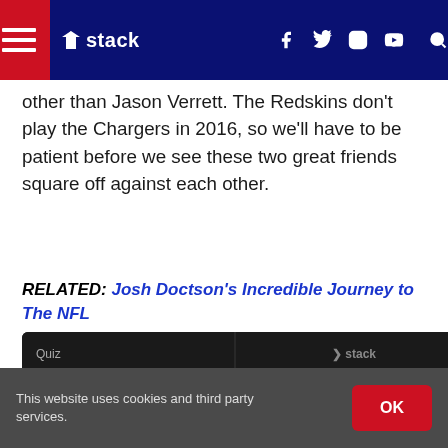stack (navigation bar with hamburger menu, logo, social icons, search)
other than Jason Verrett. The Redskins don’t play the Chargers in 2016, so we’ll have to be patient before we see these two great friends square off against each other.
RELATED: Josh Doctson’s Incredible Journey to The NFL
[Figure (screenshot): Quiz card on dark background asking 'What team famously lost the Super Bowl after being up 28-3?' with answer option 'Seattle Seahawks' and Stack logo watermark]
This website uses cookies and third party services.